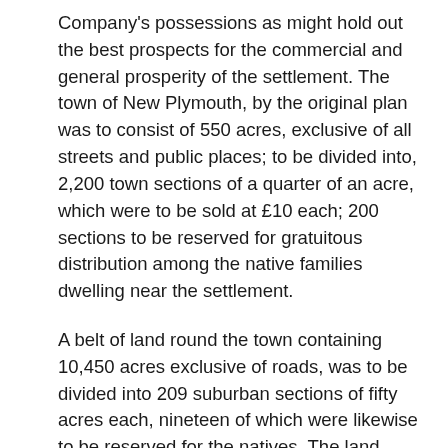Company's possessions as might hold out the best prospects for the commercial and general prosperity of the settlement. The town of New Plymouth, by the original plan was to consist of 550 acres, exclusive of all streets and public places; to be divided into, 2,200 town sections of a quarter of an acre, which were to be sold at £10 each; 200 sections to be reserved for gratuitous distribution among the native families dwelling near the settlement.
A belt of land round the town containing 10,450 acres exclusive of roads, was to be divided into 209 suburban sections of fifty acres each, nineteen of which were likewise to be reserved for the natives. The land outside this suburban belt was to comprise 57,500 acres to be divided into